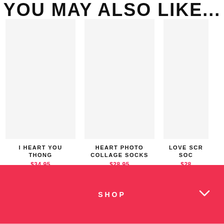YOU MAY ALSO LIKE...
[Figure (other): Product image placeholder for I Heart You Thong]
I HEART YOU THONG
$34.95
[Figure (other): Product image placeholder for Heart Photo Collage Socks]
HEART PHOTO COLLAGE SOCKS
$28.95
[Figure (other): Product image placeholder for Love Scr... Soc... (partially visible)]
LOVE SCR... SOC...
$28...
SHOP